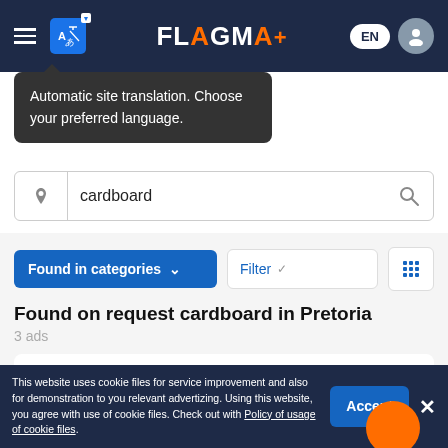[Figure (screenshot): Flagma website header with hamburger menu, Google Translate icon, Flagma logo, EN language switcher, and user icon on dark navy background]
Automatic site translation. Choose your preferred language.
[Figure (screenshot): Search bar with location pin icon, text 'cardboard', and search magnifying glass icon]
[Figure (screenshot): Filter bar with 'Found in categories' dropdown button, 'Filter' option, and grid view icon]
Found on request cardboard in Pretoria
3 ads
Search in:  Paper packaging, other
This website uses cookie files for service improvement and also for demonstration to you relevant advertizing. Using this website, you agree with use of cookie files. Check out with Policy of usage of cookie files.